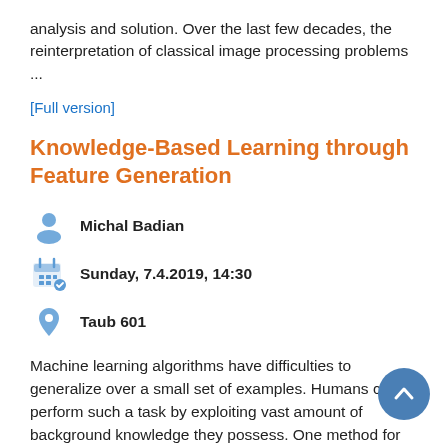analysis and solution. Over the last few decades, the reinterpretation of classical image processing problems ...
[Full version]
Knowledge-Based Learning through Feature Generation
Michal Badian
Sunday, 7.4.2019, 14:30
Taub 601
Machine learning algorithms have difficulties to generalize over a small set of examples. Humans can perform such a task by exploiting vast amount of background knowledge they possess. One method for enhancing learning algorithms with external knowledge is through feature generation. We introduce a new algorithm for generating